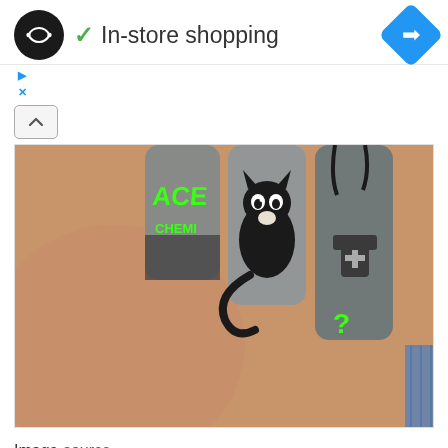In-store shopping
[Figure (photo): Close-up photo of nail art showing decorated fingernails with green 'ACE' lettering, a black cat character, and green question mark designs on dark grey polish. Watermark @jades_nails visible.]
Image source